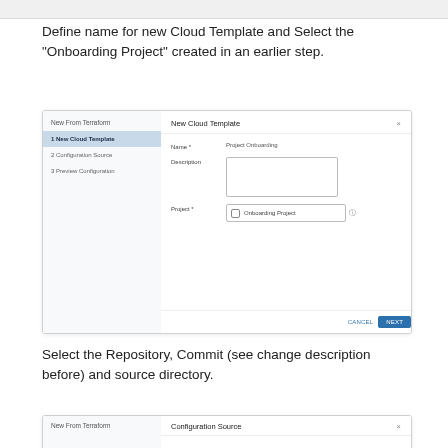Define name for new Cloud Template and Select the “Onboarding Project” created in an earlier step.
[Figure (screenshot): UI dialog showing 'New From Terraform' left panel with steps: 1 New Cloud Template (active), 2 Configuration Source, 3 Preview Configuration. Right panel shows 'New Cloud Template' form with Name field (value: Project Onboarding), Description (empty text area), Project field (Onboarding Project). Footer has CANCEL and NEXT buttons.]
Select the Repository, Commit (see change description before) and source directory.
[Figure (screenshot): Partial UI dialog showing 'New From Terraform' left panel and 'Configuration Source' right panel header visible at bottom of page.]